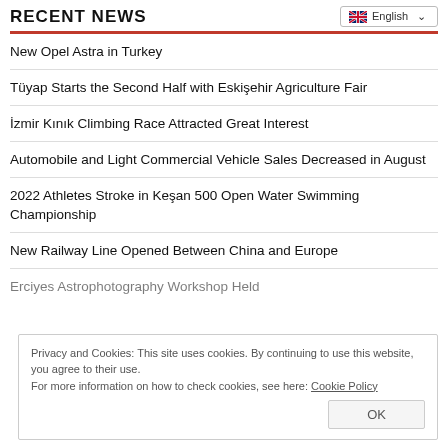RECENT NEWS
New Opel Astra in Turkey
Tüyap Starts the Second Half with Eskişehir Agriculture Fair
İzmir Kınık Climbing Race Attracted Great Interest
Automobile and Light Commercial Vehicle Sales Decreased in August
2022 Athletes Stroke in Keşan 500 Open Water Swimming Championship
New Railway Line Opened Between China and Europe
Erciyes Astrophotography Workshop Held
Privacy and Cookies: This site uses cookies. By continuing to use this website, you agree to their use.
For more information on how to check cookies, see here: Cookie Policy